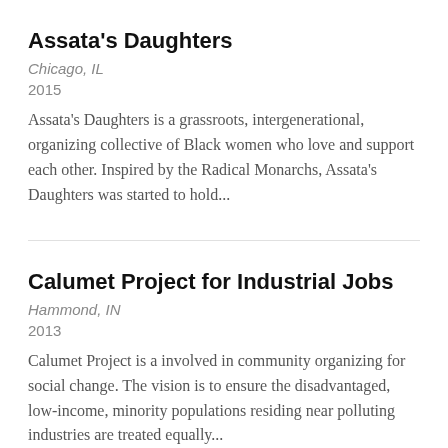Assata's Daughters
Chicago, IL
2015
Assata's Daughters is a grassroots, intergenerational, organizing collective of Black women who love and support each other. Inspired by the Radical Monarchs, Assata's Daughters was started to hold...
Calumet Project for Industrial Jobs
Hammond, IN
2013
Calumet Project is a involved in community organizing for social change. The vision is to ensure the disadvantaged, low-income, minority populations residing near polluting industries are treated equally...